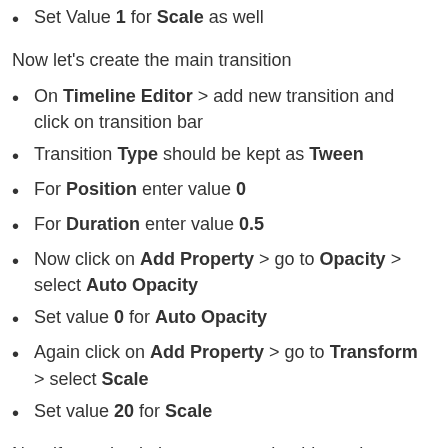Set Value 1 for Scale as well
Now let’s create the main transition
On Timeline Editor > add new transition and click on transition bar
Transition Type should be kept as Tween
For Position enter value 0
For Duration enter value 0.5
Now click on Add Property > go to Opacity > select Auto Opacity
Set value 0 for Auto Opacity
Again click on Add Property > go to Transform > select Scale
Set value 20 for Scale
Now if you check the page you should see the banner-overlay is already zoomed in. This is because the scroll position of this block is already